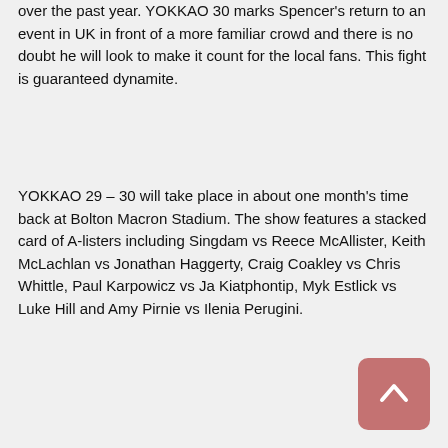over the past year. YOKKAO 30 marks Spencer's return to an event in UK in front of a more familiar crowd and there is no doubt he will look to make it count for the local fans. This fight is guaranteed dynamite.
YOKKAO 29 – 30 will take place in about one month's time back at Bolton Macron Stadium. The show features a stacked card of A-listers including Singdam vs Reece McAllister, Keith McLachlan vs Jonathan Haggerty, Craig Coakley vs Chris Whittle, Paul Karpowicz vs Ja Kiatphontip, Myk Estlick vs Luke Hill and Amy Pirnie vs Ilenia Perugini.
[Figure (other): Back-to-top button: a rounded square with a salmon/mauve pink background and a white upward-pointing chevron arrow icon.]